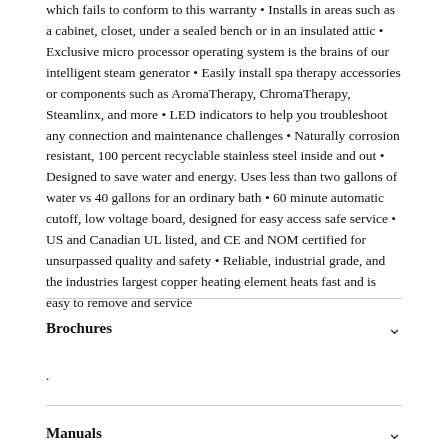which fails to conform to this warranty • Installs in areas such as a cabinet, closet, under a sealed bench or in an insulated attic • Exclusive micro processor operating system is the brains of our intelligent steam generator • Easily install spa therapy accessories or components such as AromaTherapy, ChromaTherapy, Steamlinx, and more • LED indicators to help you troubleshoot any connection and maintenance challenges • Naturally corrosion resistant, 100 percent recyclable stainless steel inside and out • Designed to save water and energy. Uses less than two gallons of water vs 40 gallons for an ordinary bath • 60 minute automatic cutoff, low voltage board, designed for easy access safe service • US and Canadian UL listed, and CE and NOM certified for unsurpassed quality and safety • Reliable, industrial grade, and the industries largest copper heating element heats fast and is easy to remove and service
Brochures
.
Manuals